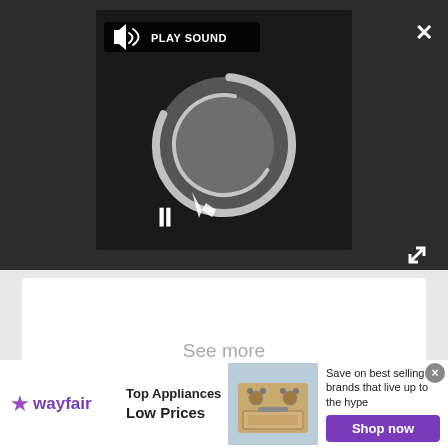[Figure (screenshot): Video player UI with dark background, loading spinner circle, play sound button, pause button, close X button, and expand arrows button]
See more
Voq? Ash? Voq? Ash...?
Which is it? Not gonna lie, I'm a little confused. As it turns out, so is half of the internet – so that's reassuring. L'Rell seemed none too happy with how
[Figure (screenshot): Wayfair advertisement banner: logo with purple star, 'Top Appliances Low Prices', image of stove/range, 'Save on best selling brands that live up to the hype', purple Shop now button]